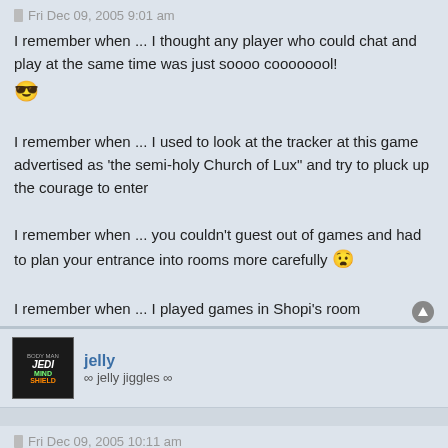Fri Dec 09, 2005 9:01 am
I remember when ... I thought any player who could chat and play at the same time was just soooo coooooool!
[emoji: cool face]

I remember when ... I used to look at the tracker at this game advertised as 'the semi-holy Church of Lux" and try to pluck up the courage to enter

I remember when ... you couldn't guest out of games and had to plan your entrance into rooms more carefully [emoji: worried face]

I remember when ... I played games in Shopi's room
jelly
∞ jelly jiggles ∞
Fri Dec 09, 2005 10:11 am
I remember when... I thought it was a smart move to cardlock michelle (BAD IDEA).
I remember when... I pidy da fool was a comment often heard in the presence of T.